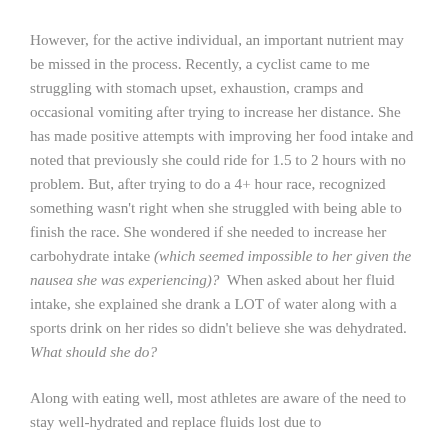However, for the active individual, an important nutrient may be missed in the process. Recently, a cyclist came to me struggling with stomach upset, exhaustion, cramps and occasional vomiting after trying to increase her distance. She has made positive attempts with improving her food intake and noted that previously she could ride for 1.5 to 2 hours with no problem. But, after trying to do a 4+ hour race, recognized something wasn't right when she struggled with being able to finish the race. She wondered if she needed to increase her carbohydrate intake (which seemed impossible to her given the nausea she was experiencing)?  When asked about her fluid intake, she explained she drank a LOT of water along with a sports drink on her rides so didn't believe she was dehydrated. What should she do?
Along with eating well, most athletes are aware of the need to stay well-hydrated and replace fluids lost due to